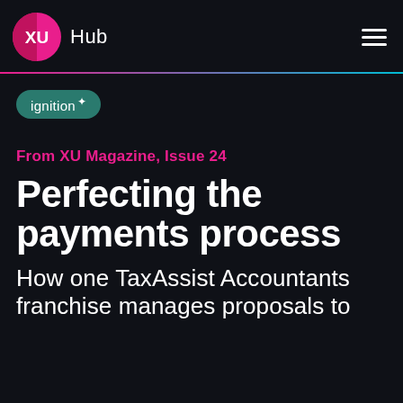XU Hub
[Figure (logo): XU Hub logo with pink circular icon containing XU text and hamburger menu icon]
ignition+
From XU Magazine, Issue 24
Perfecting the payments process
How one TaxAssist Accountants franchise manages proposals to